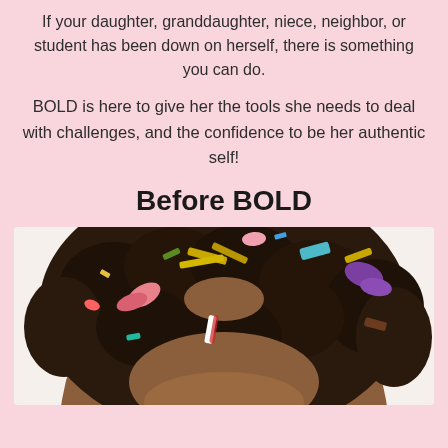If your daughter, granddaughter, niece, neighbor, or student has been down on herself, there is something you can do.
BOLD is here to give her the tools she needs to deal with challenges, and the confidence to be her authentic self!
Before BOLD
[Figure (photo): Close-up top-down view of a young girl's curly dark hair decorated with colorful confetti pieces and ribbons in pink, gold, blue, purple, and other colors.]